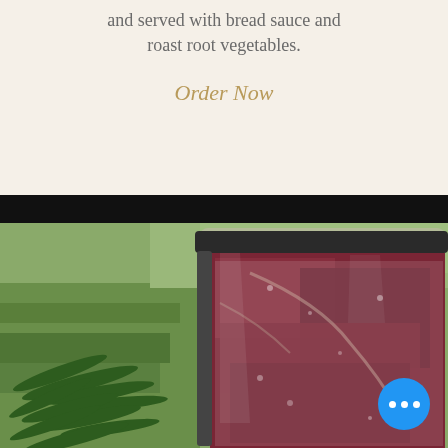and served with bread sauce and roast root vegetables.
Order Now
[Figure (photo): A vacuum-sealed raw meat (game/venison) package photographed outdoors on grass with a sprig of rosemary/pine, showing the raw dark red meat through clear plastic vacuum packaging with a dark zip seal at top.]